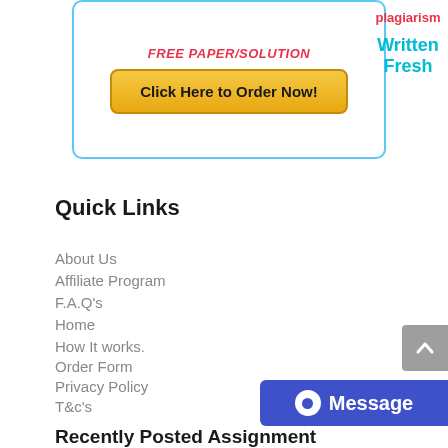[Figure (infographic): Banner with blue rounded border containing red italic text 'FREE PAPER/SOLUTION', a yellow 'Click Here to Order Now!' button, and cyan bold text 'Written Fresh' on the right with red 'plagiarism' text above it]
Quick Links
About Us
Affiliate Program
F.A.Q's
Home
How It works.
Order Form
Privacy Policy
T&c's
Recently Posted Assignment